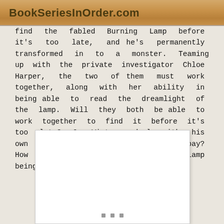BookSeriesInOrder.com
find the fabled Burning Lamp before it's too late, and he's permanently transformed in to a monster. Teaming up with the private investigator Chloe Harper, the two of them must work together, along with her ability in being able to read the dreamlight of the lamp. Will they both be able to work together to find it before it's too late? Can Winters deal with his own inner demons, keeping them at bay? How will they deal with the lamp being finally fired up?
[Figure (photo): Book cover image placeholder shown as white rectangle with three small grey dots at the bottom center]